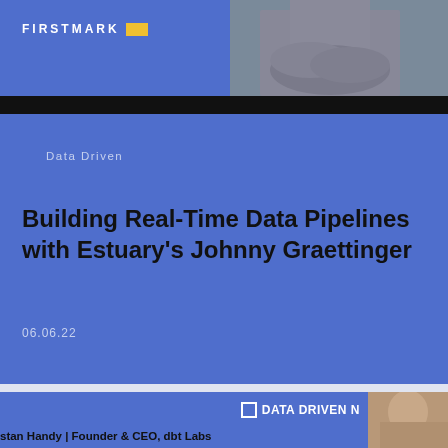[Figure (photo): Header area with FIRSTMARK logo and partial photo of a person with arms crossed wearing a grey sweater on a blue background]
FIRSTMARK
Data Driven
Building Real-Time Data Pipelines with Estuary's Johnny Graettinger
06.06.22
[Figure (photo): Bottom strip with DATA DRIVEN NYC badge and partial photo of a person, with text 'stan Handy | Founder & CEO, dbt Labs']
stan Handy | Founder & CEO, dbt Labs